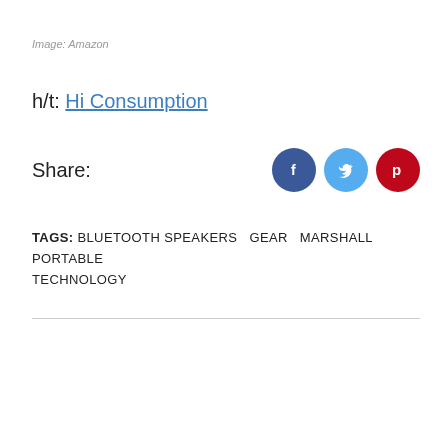Image: Amazon
h/t: Hi Consumption
Share:
TAGS: BLUETOOTH SPEAKERS  GEAR  MARSHALL  PORTABLE  TECHNOLOGY